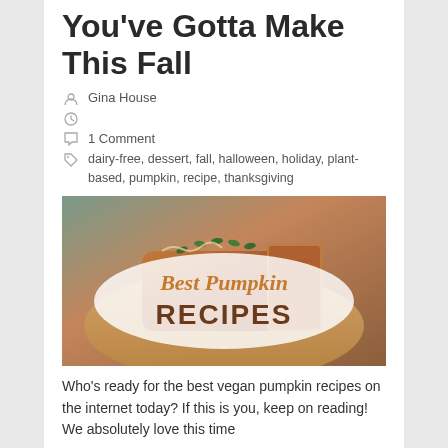You've Gotta Make This Fall
Gina House
1 Comment
dairy-free, dessert, fall, halloween, holiday, plant-based, pumpkin, recipe, thanksgiving
[Figure (photo): Photo of sliced pumpkin bread on a wooden board with pumpkin seeds on top, overlaid with decorative text reading 'Best Pumpkin RECIPES']
Who's ready for the best vegan pumpkin recipes on the internet today? If this is you, keep on reading! We absolutely love this time